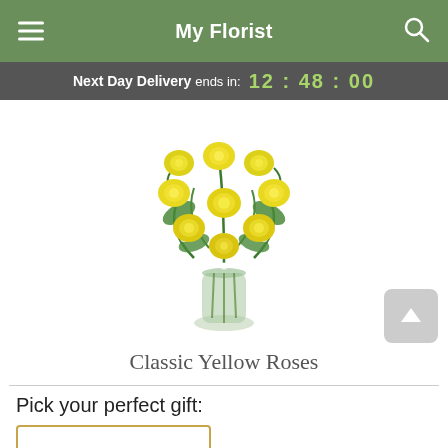My Florist
Next Day Delivery ends in: 12 : 48 : 00
[Figure (photo): A bouquet of classic yellow roses with baby's breath in a glass vase]
Classic Yellow Roses
Pick your perfect gift: